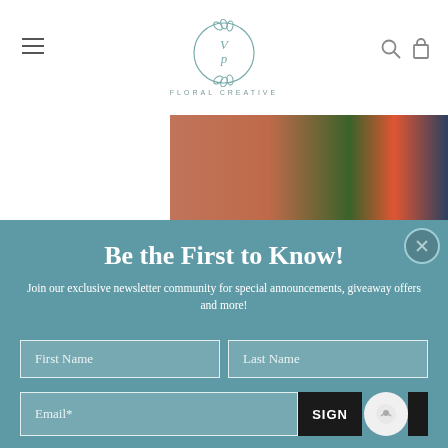[Figure (logo): VP Floral Creative circular logo with botanical flourishes in teal/sage green]
FLORAL CREATIVE
[Figure (photo): Brick wall with green ivy and red/orange elements, partially visible]
Be the First to Know!
Join our exclusive newsletter community for special announcements, giveaway offers and more!
First Name
Last Name
Email*
SIGN